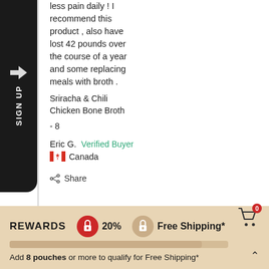less pain daily ! I recommend this product , also have lost 42 pounds over the course of a year and some replacing meals with broth .
Sriracha & Chili
Chicken Bone Broth
- 8
Eric G.   Verified Buyer
🇨🇦 Canada
Share
Was this helpful?  👍 0
REWARDS  20%  Free Shipping*
Add 8 pouches or more to qualify for Free Shipping*